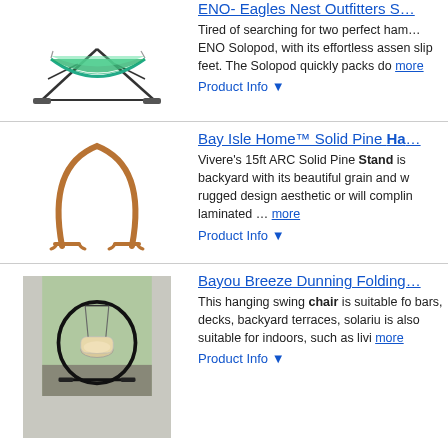ENO- Eagles Nest Outfitters S…
Tired of searching for two perfect ham… ENO Solopod, with its effortless assen slip feet. The Solopod quickly packs do more
Product Info ▼
Bay Isle Home™ Solid Pine Ha…
Vivere's 15ft ARC Solid Pine Stand is backyard with its beautiful grain and w rugged design aesthetic or will complin laminated ... more
Product Info ▼
Bayou Breeze Dunning Folding…
This hanging swing chair is suitable fo bars, decks, backyard terraces, solariu is also suitable for indoors, such as livi more
Product Info ▼
Ads related to dakota fields fereol chair hammock w sta f972c85c31754a7080dc3a9260ef2d33